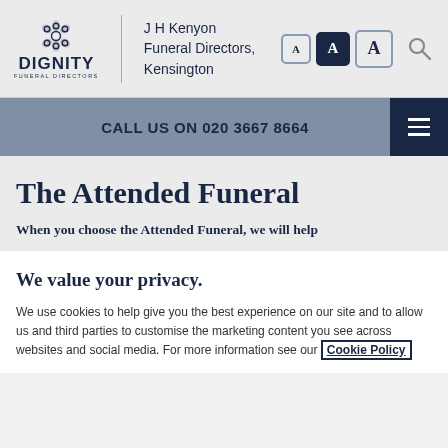[Figure (logo): Dignity Funeral Directors logo with flower emblem and J H Kenyon Funeral Directors, Kensington branch name]
CALL US ON 020 3667 8664
The Attended Funeral
When you choose the Attended Funeral, we will help
We value your privacy.
We use cookies to help give you the best experience on our site and to allow us and third parties to customise the marketing content you see across websites and social media. For more information see our Cookie Policy